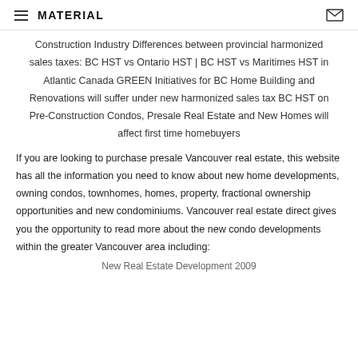MATERIAL
Construction Industry Differences between provincial harmonized sales taxes: BC HST vs Ontario HST | BC HST vs Maritimes HST in Atlantic Canada GREEN Initiatives for BC Home Building and Renovations will suffer under new harmonized sales tax BC HST on Pre-Construction Condos, Presale Real Estate and New Homes will affect first time homebuyers
If you are looking to purchase presale Vancouver real estate, this website has all the information you need to know about new home developments, owning condos, townhomes, homes, property, fractional ownership opportunities and new condominiums. Vancouver real estate direct gives you the opportunity to read more about the new condo developments within the greater Vancouver area including:
New Real Estate Development 2009